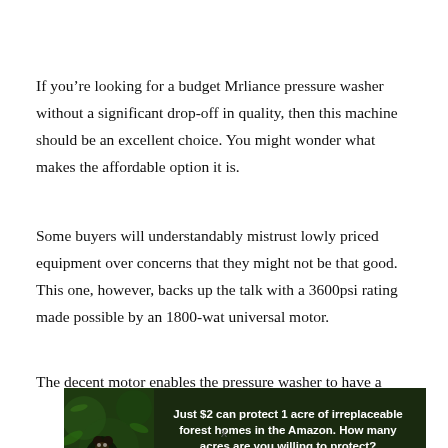If you’re looking for a budget Mrliance pressure washer without a significant drop-off in quality, then this machine should be an excellent choice. You might wonder what makes the affordable option it is.
Some buyers will understandably mistrust lowly priced equipment over concerns that they might not be that good. This one, however, backs up the talk with a 3600psi rating made possible by an 1800-wat universal motor.
The decent motor enables the pressure washer to have a
[Figure (infographic): Green advertisement banner with dark forest background. Shows a gorilla on the left side and text: 'Just $2 can protect 1 acre of irreplaceable forest homes in the Amazon. How many acres are you willing to protect?' with a green 'PROTECT FORESTS NOW' button.]
x